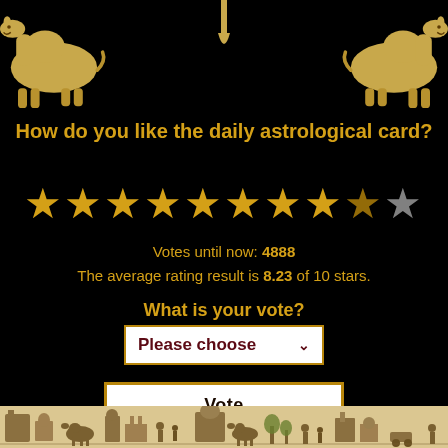[Figure (illustration): Two golden camel illustrations in upper-left and upper-right corners, with golden drip decoration at top center]
How do you like the daily astrological card?
[Figure (infographic): Star rating display showing 8 gold stars, 1 partial gold star, and 1 gray star out of 10]
Votes until now: 4888
The average rating result is 8.23 of 10 stars.
What is your vote?
[Figure (screenshot): Dropdown selector with white background, dark red text reading 'Please choose' with chevron arrow]
[Figure (screenshot): White button with gold border labeled 'Vote']
Please comment your daily Tarot card:
[Figure (illustration): Horizontal decorative strip at bottom showing a panoramic tarot/historical scene with figures, buildings, camels, and landscapes in sepia tones]